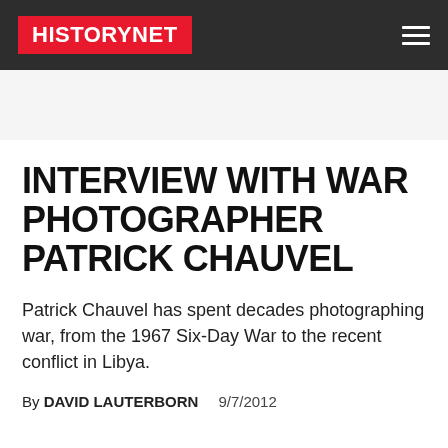HISTORYNET
INTERVIEW WITH WAR PHOTOGRAPHER PATRICK CHAUVEL
Patrick Chauvel has spent decades photographing war, from the 1967 Six-Day War to the recent conflict in Libya.
By DAVID LAUTERBORN   9/7/2012